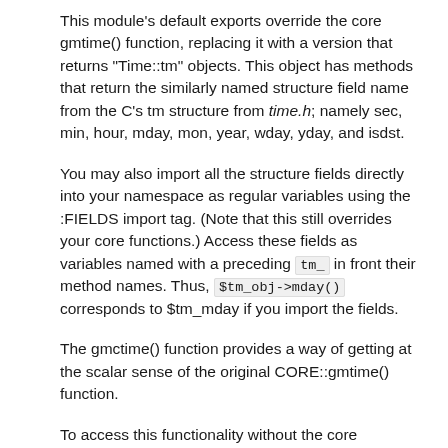This module's default exports override the core gmtime() function, replacing it with a version that returns "Time::tm" objects. This object has methods that return the similarly named structure field name from the C's tm structure from time.h; namely sec, min, hour, mday, mon, year, wday, yday, and isdst.
You may also import all the structure fields directly into your namespace as regular variables using the :FIELDS import tag. (Note that this still overrides your core functions.) Access these fields as variables named with a preceding tm_ in front their method names. Thus, $tm_obj->mday() corresponds to $tm_mday if you import the fields.
The gmctime() function provides a way of getting at the scalar sense of the original CORE::gmtime() function.
To access this functionality without the core overrides, pass the use an empty import list, and then access function functions with their full qualified names. On the other hand, the built-ins are still available via the